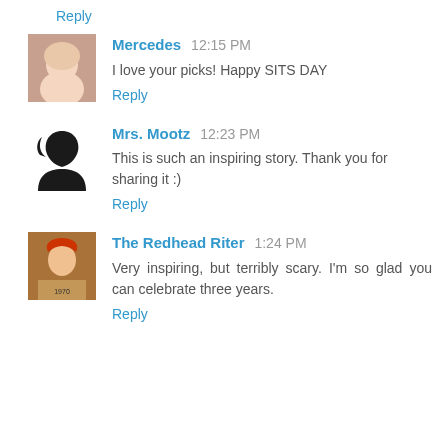Reply
Mercedes  12:15 PM
I love your picks! Happy SITS DAY
Reply
Mrs. Mootz  12:23 PM
This is such an inspiring story. Thank you for sharing it :)
Reply
The Redhead Riter  1:24 PM
Very inspiring, but terribly scary. I'm so glad you can celebrate three years.
Reply